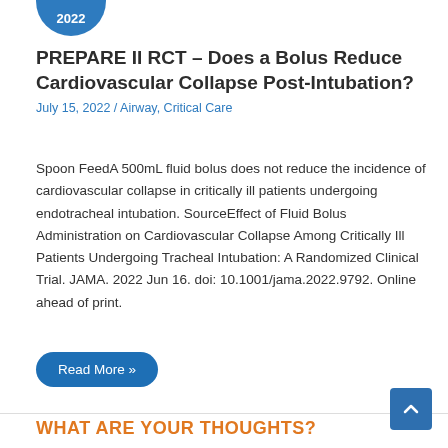[Figure (other): Blue circular badge showing '2022']
PREPARE II RCT – Does a Bolus Reduce Cardiovascular Collapse Post-Intubation?
July 15, 2022 / Airway, Critical Care
Spoon FeedA 500mL fluid bolus does not reduce the incidence of cardiovascular collapse in critically ill patients undergoing endotracheal intubation. SourceEffect of Fluid Bolus Administration on Cardiovascular Collapse Among Critically Ill Patients Undergoing Tracheal Intubation: A Randomized Clinical Trial. JAMA. 2022 Jun 16. doi: 10.1001/jama.2022.9792. Online ahead of print.
Read More »
WHAT ARE YOUR THOUGHTS?